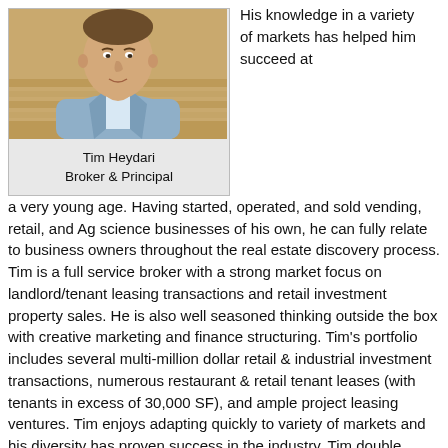[Figure (photo): Portrait photo of Tim Heydari, a man in a light blue suit jacket, seated in front of a wooden background.]
Tim Heydari
Broker & Principal
His knowledge in a variety of markets has helped him succeed at a very young age. Having started, operated, and sold vending, retail, and Ag science businesses of his own, he can fully relate to business owners throughout the real estate discovery process. Tim is a full service broker with a strong market focus on landlord/tenant leasing transactions and retail investment property sales. He is also well seasoned thinking outside the box with creative marketing and finance structuring. Tim's portfolio includes several multi-million dollar retail & industrial investment transactions, numerous restaurant & retail tenant leases (with tenants in excess of 30,000 SF), and ample project leasing ventures. Tim enjoys adapting quickly to variety of markets and his diversity has proven success in the industry. Tim double majored in electrical engineering and mathematics with a minor in business administration from Southern Methodist University. He also earned a master's degree in